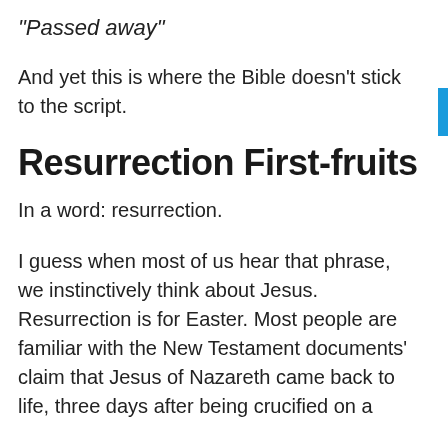“Passed away”
And yet this is where the Bible doesn’t stick to the script.
Resurrection First-fruits
In a word: resurrection.
I guess when most of us hear that phrase, we instinctively think about Jesus. Resurrection is for Easter. Most people are familiar with the New Testament documents’ claim that Jesus of Nazareth came back to life, three days after being crucified on a